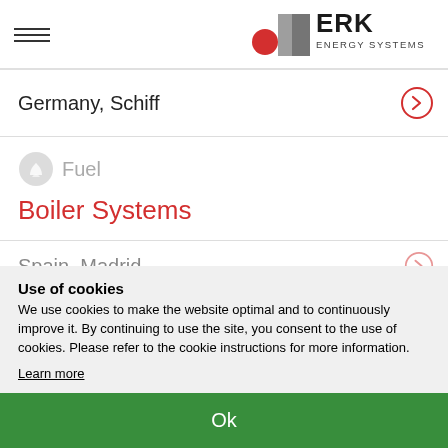[Figure (logo): ERK Energy Systems logo with hamburger menu icon on left and ERK logo (gray arrow shape with red dot) and text 'ERK ENERGY SYSTEMS' on right]
Germany, Schiff
Fuel
Boiler Systems
Spain, Madrid
Use of cookies
We use cookies to make the website optimal and to continuously improve it. By continuing to use the site, you consent to the use of cookies. Please refer to the cookie instructions for more information.
Learn more
Ok